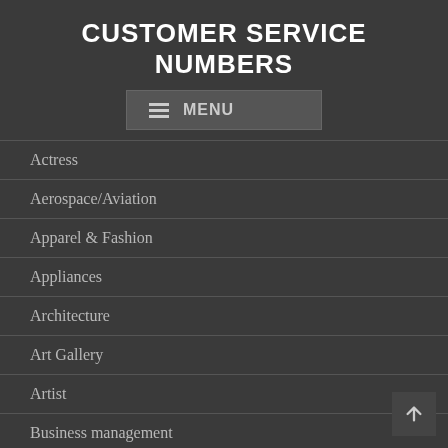CUSTOMER SERVICE NUMBERS
[Figure (other): Navigation menu button with hamburger icon and MENU label]
Actress
Aerospace/Aviation
Apparel & Fashion
Appliances
Architecture
Art Gallery
Artist
Business management
Catering Company
Celebrities